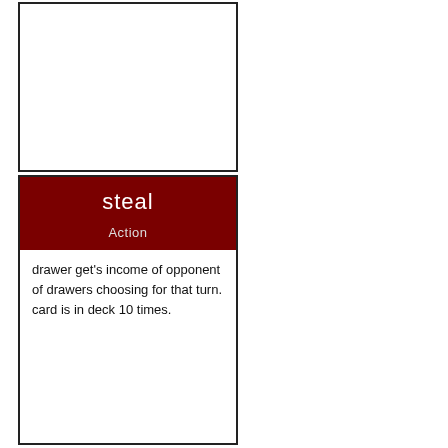[Figure (other): Empty white card area with black border (top card, no content)]
steal
Action
drawer get's income of opponent of drawers choosing for that turn. card is in deck 10 times.